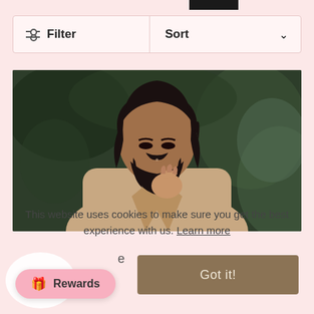[Figure (screenshot): Filter and Sort toolbar with pink/white background, filter icon on left, sort dropdown on right with chevron]
[Figure (photo): Portrait photo of a bearded man with dark hair wearing a tan/camel blazer, looking downward with hand near face, against a dark green rocky background]
This website uses cookies to make sure you get the best experience with us. Learn more
[Figure (other): Got it! button with brownish/tan background]
[Figure (other): Rewards button with pink background showing gift icon]